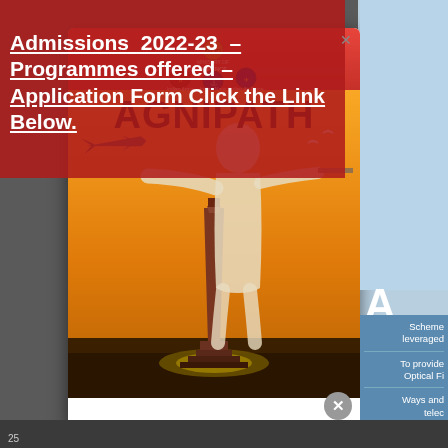Admissions 2022-23 – Programmes offered – Application Form Click the Link Below.
[Figure (illustration): Agnipath scheme promotional poster showing a silhouette of a soldier aiming a rifle, a fighter jet, and a war memorial obelisk on an orange/golden background. Ministry of Defence logo at top with Indian Army, Indian Navy, and Indian Air Force emblems. Large bold text reading AGNIPATH.]
Scheme leveraged
To provide Optical Fi
Ways and tele